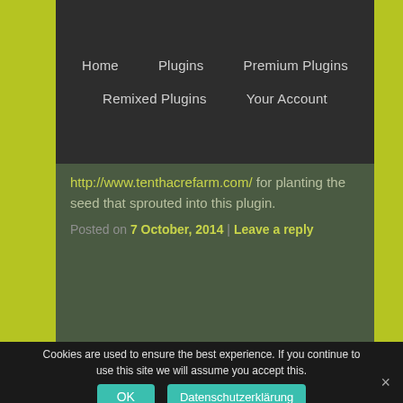Home | Plugins | Premium Plugins | Remixed Plugins | Your Account
http://www.tenthacrefarm.com/ for planting the seed that sprouted into this plugin.
Posted on 7 October, 2014 | Leave a reply
ASIDE
Archive-Pro-Matic version 0.4 has just popped hot out of the Plugin Oven. This version offers full WPML compatibility, along
Cookies are used to ensure the best experience. If you continue to use this site we will assume you accept this.